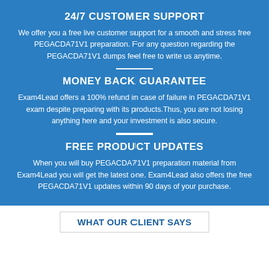24/7 CUSTOMER SUPPORT
We offer you a free live customer support for a smooth and stress free PEGACDA71V1 preparation. For any question regarding the PEGACDA71V1 dumps feel free to write us anytime.
MONEY BACK GUARANTEE
Exam4Lead offers a 100% refund in case of failure in PEGACDA71V1 exam despite preparing with its products.Thus, you are not losing anything here and your investment is also secure.
FREE PRODUCT UPDATES
When you will buy PEGACDA71V1 preparation material from Exam4Lead you will get the latest one. Exam4Lead also offers the free PEGACDA71V1 updates within 90 days of your purchase.
WHAT OUR CLIENT SAYS